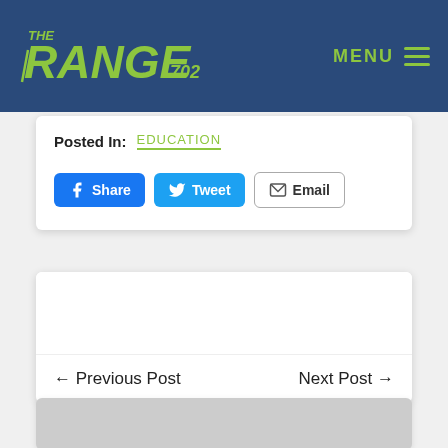THE RANGE 702 | MENU
Posted In: EDUCATION
Share  Tweet  Email
← Previous Post    Next Post →